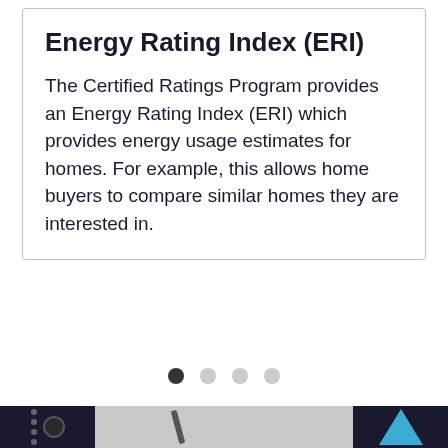Energy Rating Index (ERI)
The Certified Ratings Program provides an Energy Rating Index (ERI) which provides energy usage estimates for homes. For example, this allows home buyers to compare similar homes they are interested in.
[Figure (other): Pagination indicator with four dots: first dot is filled/dark (active), remaining three dots are light grey (inactive)]
[Figure (photo): Bottom strip showing partial images: left section is dark background with notebook spiral binding dots, center section shows a grey surface with a pen/pencil, right section shows dark background with a blue triangle shape]